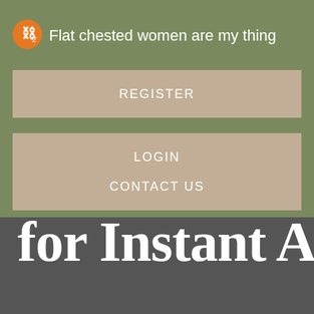[Figure (logo): Orange circular icon with chain/link symbol and subscript 2]
Flat chested women are my thing
REGISTER
LOGIN
CONTACT US
for Instant A